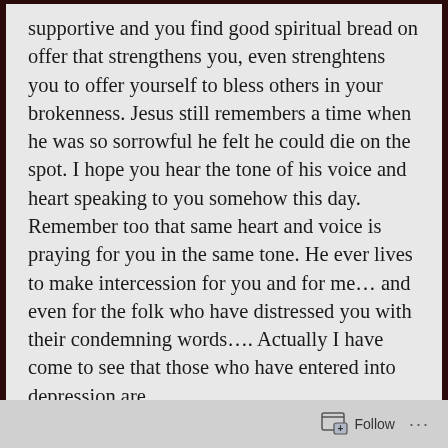supportive and you find good spiritual bread on offer that strengthens you, even strenghtens you to offer yourself to bless others in your brokenness. Jesus still remembers a time when he was so sorrowful he felt he could die on the spot. I hope you hear the tone of his voice and heart speaking to you somehow this day. Remember too that same heart and voice is praying for you in the same tone. He ever lives to make intercession for you and for me... and even for the folk who have distressed you with their condemning words.... Actually I have come to see that those who have entered into depression are
Follow ...